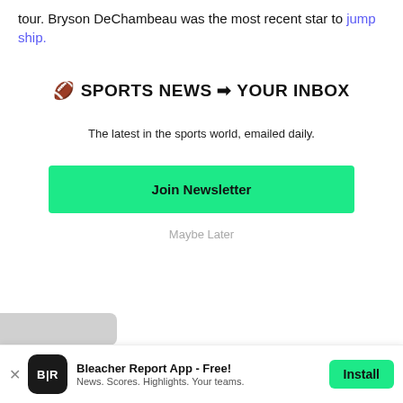tour. Bryson DeChambeau was the most recent star to jump ship.
🏈 SPORTS NEWS ➡ YOUR INBOX
The latest in the sports world, emailed daily.
Join Newsletter
Maybe Later
Bleacher Report App - Free! News. Scores. Highlights. Your teams. Install